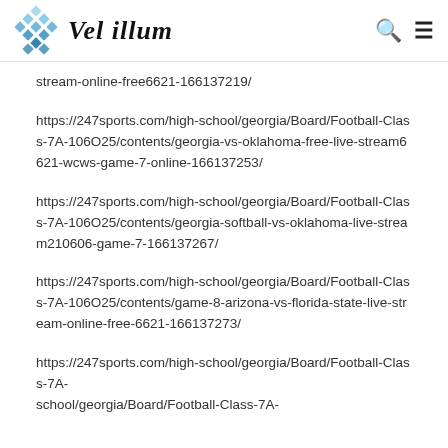Vel illum
stream-online-free6621-166137219/
https://247sports.com/high-school/georgia/Board/Football-Class-7A-106O25/contents/georgia-vs-oklahoma-free-live-stream6621-wcws-game-7-online-166137253/
https://247sports.com/high-school/georgia/Board/Football-Class-7A-106O25/contents/georgia-softball-vs-oklahoma-live-stream210606-game-7-166137267/
https://247sports.com/high-school/georgia/Board/Football-Class-7A-106O25/contents/game-8-arizona-vs-florida-state-live-stream-online-free-6621-166137273/
https://247sports.com/high-school/georgia/Board/Football-Class-7A-